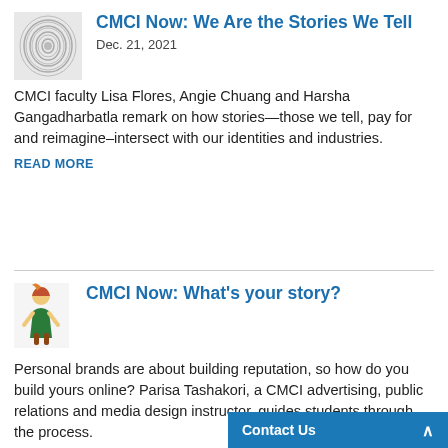[Figure (illustration): Fingerprint-like grayscale icon thumbnail for CMCI Now article]
CMCI Now: We Are the Stories We Tell
Dec. 21, 2021
CMCI faculty Lisa Flores, Angie Chuang and Harsha Gangadharbatla remark on how stories—those we tell, pay for and reimagine–intersect with our identities and industries.
READ MORE
[Figure (illustration): Colorful person/figure icon thumbnail for CMCI Now: What's your story? article]
CMCI Now: What's your story?
Personal brands are about building reputation, so how do you build yours online? Parisa Tashakori, a CMCI advertising, public relations and media design instructor, guides students through the process.
READ MORE
Contact Us